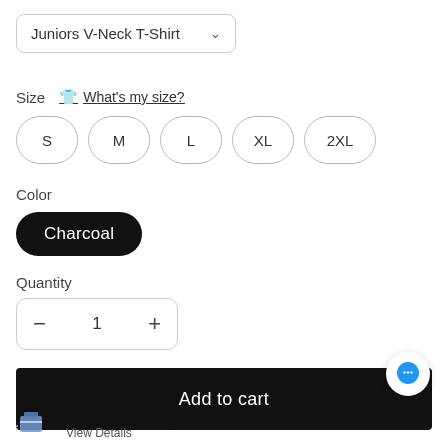Juniors V-Neck T-Shirt
Size
What's my size?
S
M
L
XL
2XL
Color
Charcoal
Quantity
1
Add to cart
FREE SHIPPING, FREE RETURNS
View Details